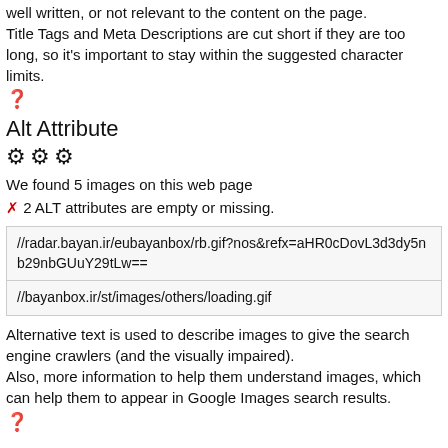well written, or not relevant to the content on the page. Title Tags and Meta Descriptions are cut short if they are too long, so it's important to stay within the suggested character limits.
[Figure (other): Question mark icon (circle with question mark)]
Alt Attribute
[Figure (other): Three gear/settings icons]
We found 5 images on this web page
✗ 2 ALT attributes are empty or missing.
| //radar.bayan.ir/eubayanbox/rb.gif?nos&refx=aHR0cDovL3d3dy5nb29nbGUuY29tLw== |
| //bayanbox.ir/st/images/others/loading.gif |
Alternative text is used to describe images to give the search engine crawlers (and the visually impaired). Also, more information to help them understand images, which can help them to appear in Google Images search results.
[Figure (other): Question mark icon (circle with question mark)]